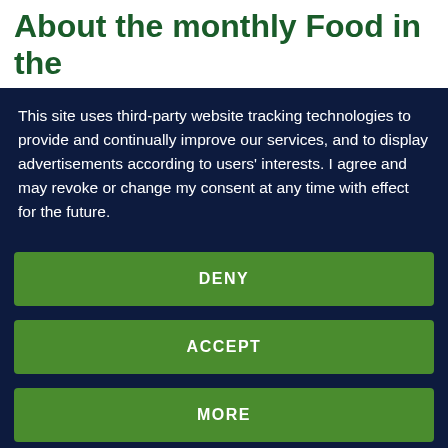About the monthly Food in the
This site uses third-party website tracking technologies to provide and continually improve our services, and to display advertisements according to users' interests. I agree and may revoke or change my consent at any time with effect for the future.
DENY
ACCEPT
MORE
Powered by usercentrics & PRIVE